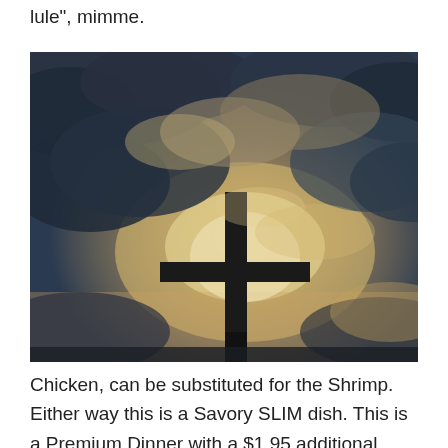lule", mimme.
[Figure (photo): Silhouette of a Christian cross against a dramatic cloudy sky with light breaking through the clouds]
Chicken, can be substituted for the Shrimp. Either way this is a Savory SLIM dish. This is a Premium Dinner with a $1.95 additional charge per serving